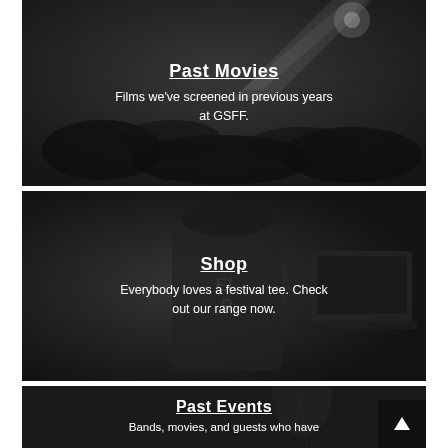[Figure (photo): Black and white photo of a nighttime outdoor film festival crowd with a projector beam overhead. Overlay text: 'Past Movies' (underlined) and 'Films we've screened in previous years at GSFF.']
[Figure (photo): Black and white close-up photo of a person wearing a festival t-shirt and someone using a laptop device. Overlay text: 'Shop' (underlined) and 'Everybody loves a festival tee. Check out our range now.']
[Figure (photo): Black and white photo of a performer or musician on stage. Overlay text: 'Past Events' (underlined) and 'Bands, movies, and guests who have graced the GSFF stage...']